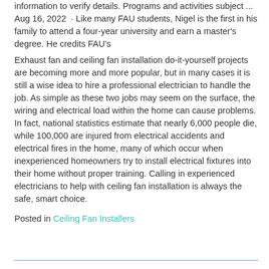information to verify details. Programs and activities subject ... Aug 16, 2022 · Like many FAU students, Nigel is the first in his family to attend a four-year university and earn a master's degree. He credits FAU's
Exhaust fan and ceiling fan installation do-it-yourself projects are becoming more and more popular, but in many cases it is still a wise idea to hire a professional electrician to handle the job. As simple as these two jobs may seem on the surface, the wiring and electrical load within the home can cause problems. In fact, national statistics estimate that nearly 6,000 people die, while 100,000 are injured from electrical accidents and electrical fires in the home, many of which occur when inexperienced homeowners try to install electrical fixtures into their home without proper training. Calling in experienced electricians to help with ceiling fan installation is always the safe, smart choice.
Posted in Ceiling Fan Installers